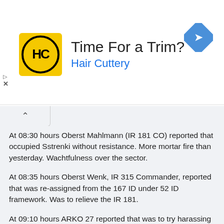[Figure (illustration): Advertisement banner for Hair Cuttery showing logo with HC initials in yellow circle, text 'Time For a Trim?' and 'Hair Cuttery' in blue, and a blue diamond-shaped navigation icon on the right]
At 08:30 hours Oberst Mahlmann (IR 181 CO) reported that occupied Sstrenki without resistance. More mortar fire than yesterday. Wachtfulness over the sector.
At 08:35 hours Oberst Wenk, IR 315 Commander, reported that was re-assigned from the 167 ID under 52 ID framework. Was to relieve the IR 181.
At 09:10 hours ARKO 27 reported that was to try harassing fire on the Druth river fording.
At 10:00 hours in the IR 205’s sector heavy enemy movements between Blisnezy and Kostjaschowo could be observed. The russian retreated due to the accurate fire unleashed by the II./ AR 152, mortars and infantry guns. Eastwards Chomitschi-Sapoljskije was detected an enemy battery in open ground and counter - battery fire was unleashed on it, some guns retreated to the rear.